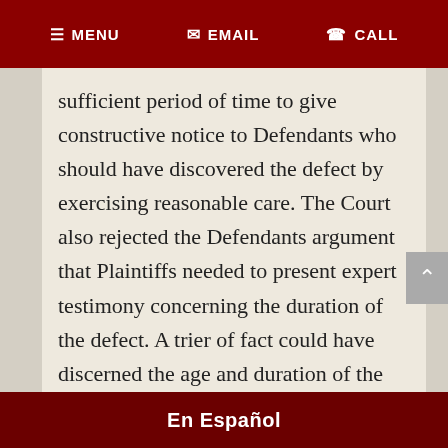≡ MENU   ✉ EMAIL   ☎ CALL
sufficient period of time to give constructive notice to Defendants who should have discovered the defect by exercising reasonable care. The Court also rejected the Defendants argument that Plaintiffs needed to present expert testimony concerning the duration of the defect. A trier of fact could have discerned the age and duration of the catch basin as having been in existence for a very long time without the need of expert testimony.
En Español